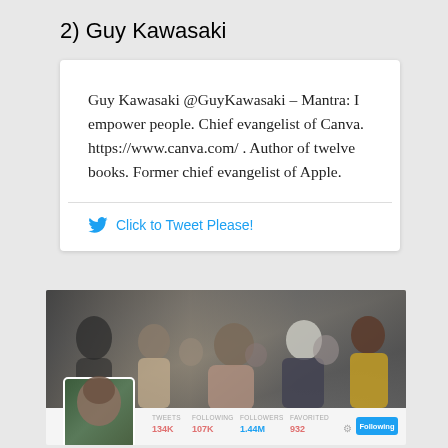2) Guy Kawasaki
Guy Kawasaki @GuyKawasaki – Mantra: I empower people. Chief evangelist of Canva. https://www.canva.com/ . Author of twelve books. Former chief evangelist of Apple.
Click to Tweet Please!
[Figure (screenshot): Twitter profile page screenshot of Guy Kawasaki showing a banner photo of people laughing at an event, a profile picture of Guy Kawasaki, and stats: TWEETS 134K, FOLLOWING 107K, FOLLOWERS 1.44M, FAVORITED 932, with a Following button.]